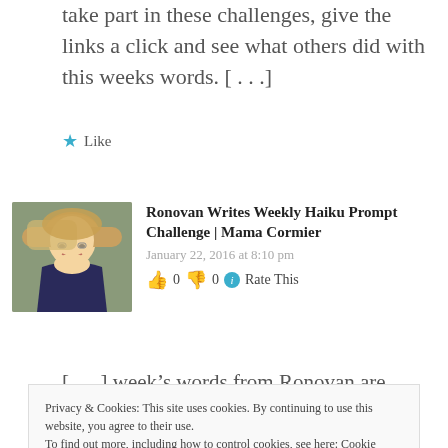take part in these challenges, give the links a click and see what others did with this weeks words. [...]
Like
Ronovan Writes Weekly Haiku Prompt Challenge | Mama Cormier
January 22, 2016 at 8:10 pm
👍 0 👎 0 ℹ Rate This
[Figure (photo): Avatar photo of a woman with blonde hair and glasses, smiling]
[...] week's words from Ronovan are
Privacy & Cookies: This site uses cookies. By continuing to use this website, you agree to their use. To find out more, including how to control cookies, see here: Cookie Policy
Close and accept
Farewell to Winter | The Aran Artisan